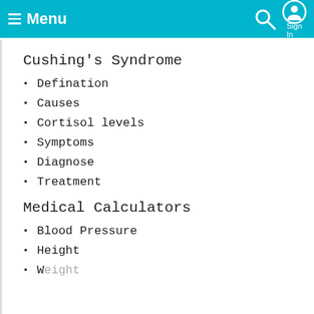Menu Sign In
Cushing's Syndrome
Defination
Causes
Cortisol levels
Symptoms
Diagnose
Treatment
Medical Calculators
Blood Pressure
Height
Weight